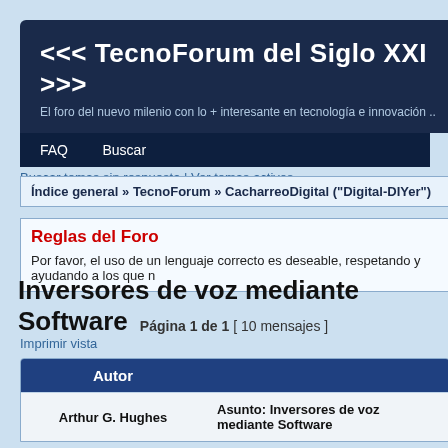<<< TecnoForum del Siglo XXI >>>
El foro del nuevo milenio con lo + interesante en tecnología e innovación ..
FAQ   Buscar
Buscar temas sin respuesta | Ver temas activos
Índice general » TecnoForum » CacharreoDigital ("Digital-DIYer")
Reglas del Foro
Por favor, el uso de un lenguaje correcto es deseable, respetando y ayudando a los que m
Inversores de voz mediante Software
Página 1 de 1 [ 10 mensajes ]
Imprimir vista
| Autor | Asunto: Inversores de voz mediante Software |
| --- | --- |
| Arthur G. Hughes | Asunto: Inversores de voz mediante Software |